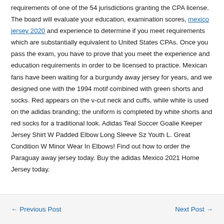requirements of one of the 54 jurisdictions granting the CPA license. The board will evaluate your education, examination scores, mexico jersey 2020 and experience to determine if you meet requirements which are substantially equivalent to United States CPAs. Once you pass the exam, you have to prove that you meet the experience and education requirements in order to be licensed to practice. Mexican fans have been waiting for a burgundy away jersey for years, and we designed one with the 1994 motif combined with green shorts and socks. Red appears on the v-cut neck and cuffs, while white is used on the adidas branding; the uniform is completed by white shorts and red socks for a traditional look. Adidas Teal Soccer Goalie Keeper Jersey Shirt W Padded Elbow Long Sleeve Sz Youth L. Great Condition W Minor Wear In Elbows! Find out how to order the Paraguay away jersey today. Buy the adidas Mexico 2021 Home Jersey today.
← Previous Post   Next Post →